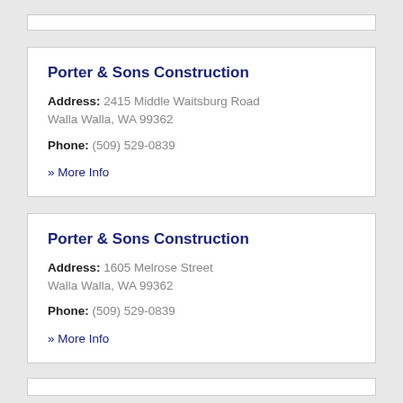Porter & Sons Construction
Address: 2415 Middle Waitsburg Road Walla Walla, WA 99362
Phone: (509) 529-0839
» More Info
Porter & Sons Construction
Address: 1605 Melrose Street Walla Walla, WA 99362
Phone: (509) 529-0839
» More Info